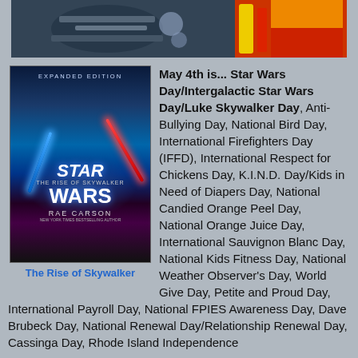[Figure (photo): Top image showing Star Wars LEGO or spacecraft toys/models with red and yellow/blue color elements against a light background]
[Figure (photo): Book cover: Star Wars The Rise of Skywalker Expanded Edition by Rae Carson, showing lightsaber duel scene]
The Rise of Skywalker
May 4th is... Star Wars Day/Intergalactic Star Wars Day/Luke Skywalker Day, Anti-Bullying Day, National Bird Day, International Firefighters Day (IFFD), International Respect for Chickens Day, K.I.N.D. Day/Kids in Need of Diapers Day, National Candied Orange Peel Day, National Orange Juice Day, International Sauvignon Blanc Day, National Kids Fitness Day, National Weather Observer's Day, World Give Day, Petite and Proud Day, International Payroll Day, National FPIES Awareness Day, Dave Brubeck Day, National Renewal Day/Relationship Renewal Day, Cassinga Day, Rhode Island Independence